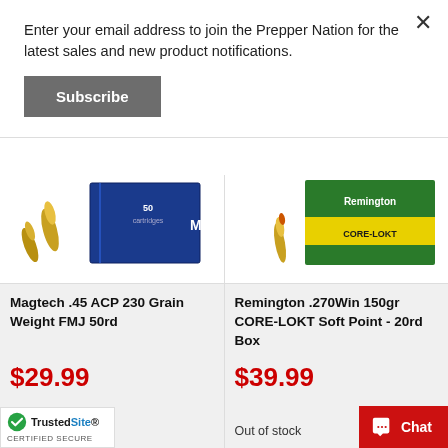Enter your email address to join the Prepper Nation for the latest sales and new product notifications.
Subscribe
[Figure (photo): Magtech .45 ACP ammunition box (blue) with bullets]
Magtech .45 ACP 230 Grain Weight FMJ 50rd
$29.99
[Figure (photo): Remington .270Win Core-Lokt ammunition box (green/yellow) with bullet]
Remington .270Win 150gr CORE-LOKT Soft Point - 20rd Box
$39.99
Out of stock
[Figure (logo): TrustedSite Certified Secure badge]
Chat